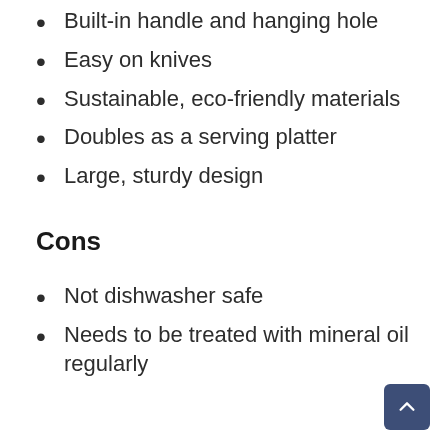Built-in handle and hanging hole
Easy on knives
Sustainable, eco-friendly materials
Doubles as a serving platter
Large, sturdy design
Cons
Not dishwasher safe
Needs to be treated with mineral oil regularly